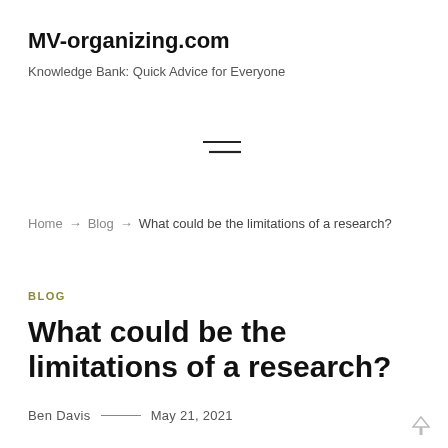MV-organizing.com
Knowledge Bank: Quick Advice for Everyone
[Figure (other): Hamburger menu icon (two horizontal lines)]
Home → Blog → What could be the limitations of a research?
BLOG
What could be the limitations of a research?
Ben Davis — May 21, 2021